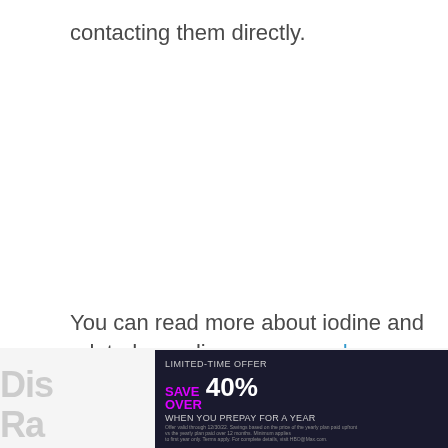contacting them directly.
You can read more about iodine and related recycling processes here.
[Figure (screenshot): HBO Max advertisement banner: LIMITED-TIME OFFER SAVE OVER 40% WHEN YOU PREPAY FOR A YEAR, with SIGN UP NOW button]
Dis... Ra...